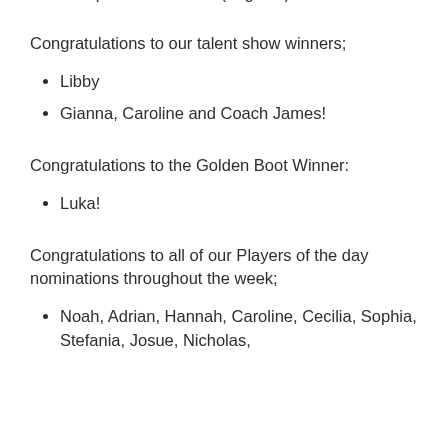Liverpool and Mexico ('Nigeria')
Congratulations to our talent show winners;
Libby
Gianna, Caroline and Coach James!
Congratulations to the Golden Boot Winner:
Luka!
Congratulations to all of our Players of the day nominations throughout the week;
Noah, Adrian, Hannah, Caroline, Cecilia, Sophia, Stefania, Josue, Nicholas,